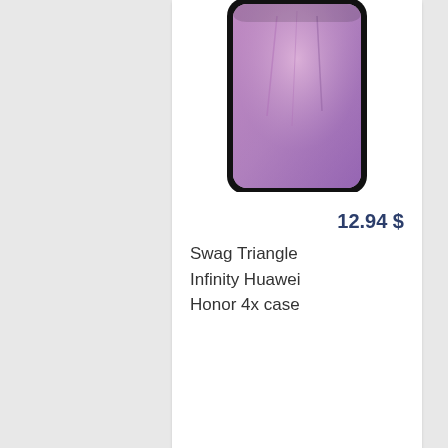[Figure (photo): Top portion of a phone case product card showing a smartphone case with pink/purple abstract design, partially visible]
12.94 $
Swag Triangle Infinity Huawei Honor 4x case
[Figure (photo): Second product card showing a smartphone case with an anchor design against a beach/ocean background with teal and yellow tones, camera visible at top]